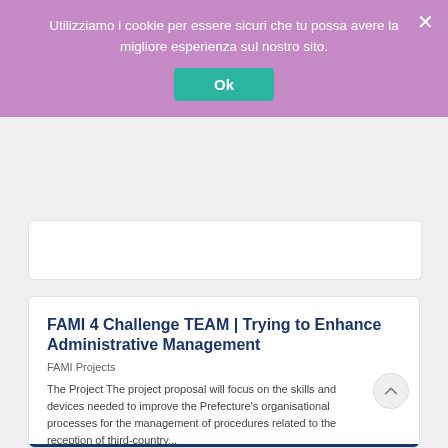Utilizziamo i cookie per essere sicuri che tu possa avere la migliore esperienza sul nostro sito.
Ok
FAMI 4 Challenge TEAM | Trying to Enhance Administrative Management
FAMI Projects
The Project The project proposal will focus on the skills and devices needed to improve the Prefecture's organisational processes for the management of procedures related to the reception of third-country...